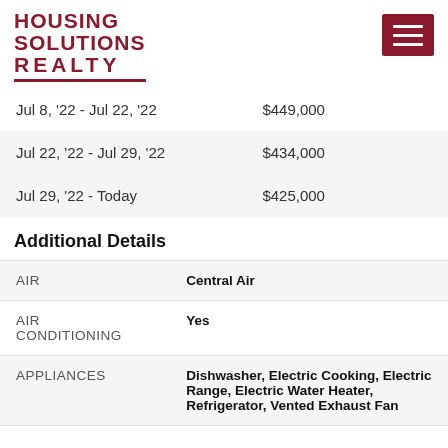HOUSING SOLUTIONS REALTY
| Date Range | Price |
| --- | --- |
| Jul 8, '22 - Jul 22, '22 | $449,000 |
| Jul 22, '22 - Jul 29, '22 | $434,000 |
| Jul 29, '22 - Today | $425,000 |
Additional Details
| Field | Value |
| --- | --- |
| AIR | Central Air |
| AIR CONDITIONING | Yes |
| APPLIANCES | Dishwasher, Electric Cooking, Electric Range, Electric Water Heater, Refrigerator, Vented Exhaust Fan |